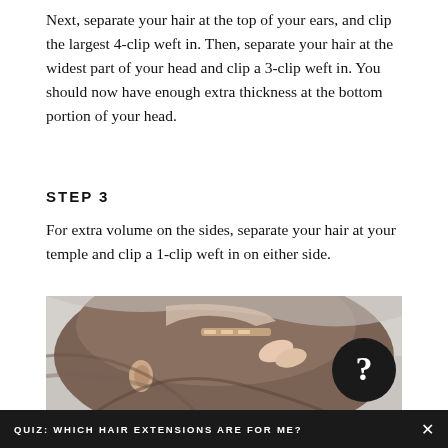Next, separate your hair at the top of your ears, and clip the largest 4-clip weft in. Then, separate your hair at the widest part of your head and clip a 3-clip weft in. You should now have enough extra thickness at the bottom portion of your head.
STEP 3
For extra volume on the sides, separate your hair at your temple and clip a 1-clip weft in on either side.
[Figure (photo): A person clipping a hair extension weft near their temple, showing the side of their head with brown hair being clipped in. A black circle with a white question mark is overlaid in the bottom right of the photo.]
QUIZ: WHICH HAIR EXTENSIONS ARE FOR ME?   ×